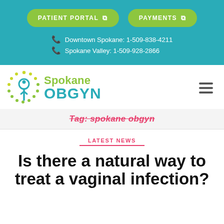PATIENT PORTAL | PAYMENTS | Downtown Spokane: 1-509-838-4211 | Spokane Valley: 1-509-928-2866
[Figure (logo): Spokane OBGYN logo with circular tree/spoon icon in green and teal, text reads 'Spokane OBGYN']
Tag: spokane obgyn
LATEST NEWS
Is there a natural way to treat a vaginal infection?